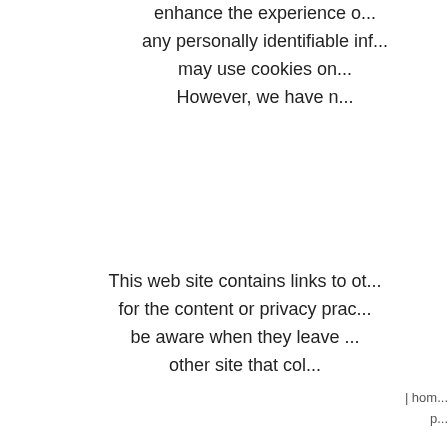enhance the experience o... any personally identifiable inf... may use cookies on... However, we have n...
This web site contains links to ot... for the content or privacy prac... be aware when they leave ... other site that col...
Our Privacy Policy may c...
| hom... p...